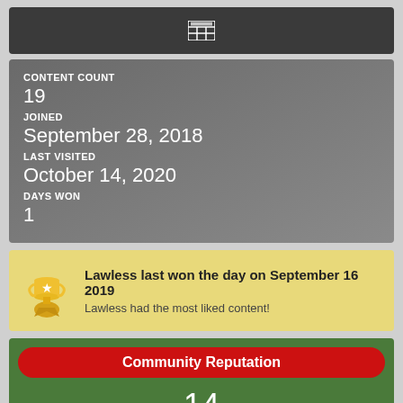[Figure (other): Dark grey header bar with a grid/table icon in white]
CONTENT COUNT
19
JOINED
September 28, 2018
LAST VISITED
October 14, 2020
DAYS WON
1
Lawless last won the day on September 16 2019
Lawless had the most liked content!
Community Reputation
14
Neutral